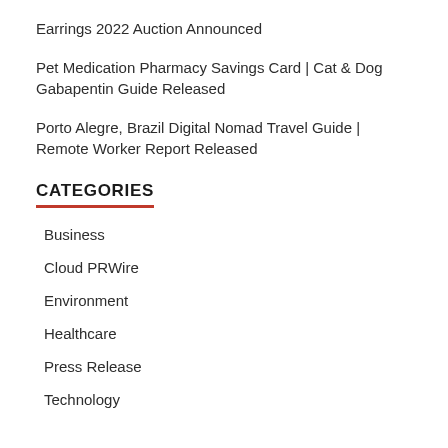Earrings 2022 Auction Announced
Pet Medication Pharmacy Savings Card | Cat & Dog Gabapentin Guide Released
Porto Alegre, Brazil Digital Nomad Travel Guide | Remote Worker Report Released
CATEGORIES
Business
Cloud PRWire
Environment
Healthcare
Press Release
Technology